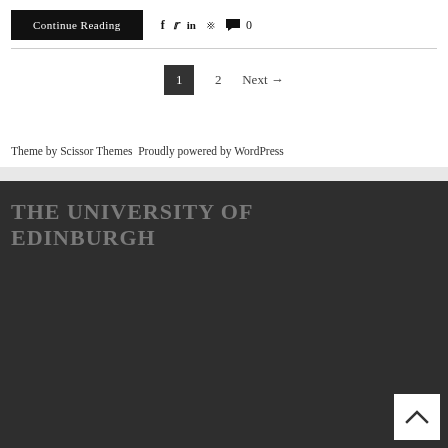Continue Reading
f  t  in  p  💬 0
1   2   Next →
Theme by Scissor Themes Proudly powered by WordPress
THE UNIVERSITY OF EDINBURGH